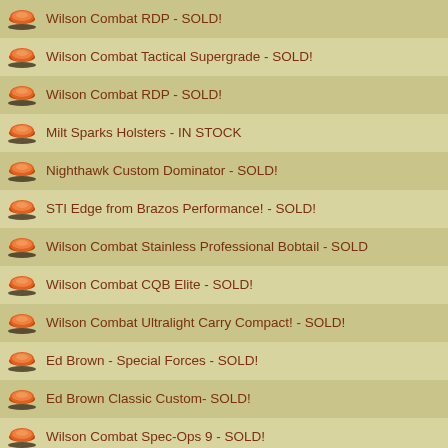Wilson Combat RDP - SOLD!
Wilson Combat Tactical Supergrade - SOLD!
Wilson Combat RDP - SOLD!
Milt Sparks Holsters - IN STOCK
Nighthawk Custom Dominator - SOLD!
STI Edge from Brazos Performance! - SOLD!
Wilson Combat Stainless Professional Bobtail - SOLD
Wilson Combat CQB Elite - SOLD!
Wilson Combat Ultralight Carry Compact! - SOLD!
Ed Brown - Special Forces - SOLD!
Ed Brown Classic Custom- SOLD!
Wilson Combat Spec-Ops 9 - SOLD!
Wilson Combat Tactical Supergrade! - SOLD!
Wilson Combat Tactical Elite - SOLD!
Wilson Combat RDP - IN BOUND! - SOLD!
Wilson Combat Tactical Elite - California Approved - SOLD!
Wilson Combat Border Patrol -SOLD!
Wilson Combat Supergrade Professional - BACK ON TRADE! - SOLD
Wilson Combat Professsional - 9mm! - SOLD!
Wilson Combat Tactical Supergrade - IN BOUND! - SOLD!
Bill Wilson Carry Pistol - IN STOCK! - SOLD!
Wilson Combat CQB Elite - IN STOCK! - SOLD!
Wilson Combat CQB Elite in 9mm - IN BOUND! - SOLD!